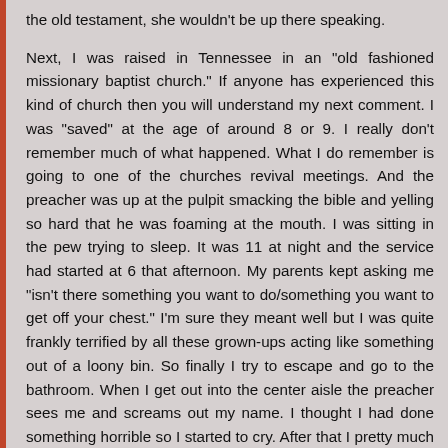the old testament, she wouldn't be up there speaking.
Next, I was raised in Tennessee in an "old fashioned missionary baptist church." If anyone has experienced this kind of church then you will understand my next comment. I was "saved" at the age of around 8 or 9. I really don't remember much of what happened. What I do remember is going to one of the churches revival meetings. And the preacher was up at the pulpit smacking the bible and yelling so hard that he was foaming at the mouth. I was sitting in the pew trying to sleep. It was 11 at night and the service had started at 6 that afternoon. My parents kept asking me "isn't there something you want to do/something you want to get off your chest." I'm sure they meant well but I was quite frankly terrified by all these grown-ups acting like something out of a loony bin. So finally I try to escape and go to the bathroom. When I get out into the center aisle the preacher sees me and screams out my name. I thought I had done something horrible so I started to cry. After that I pretty much followed the prompts and said what I thought they wanted. Now this long story has a point. Watching the kids in this movie, I see the same terror on some of their